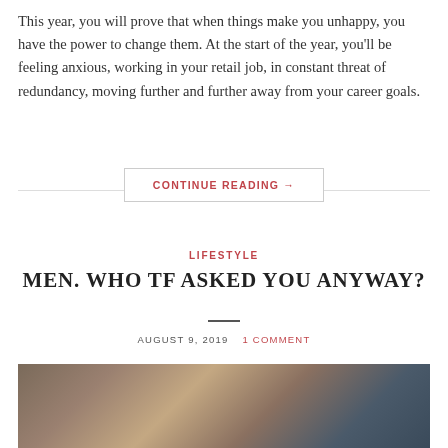This year, you will prove that when things make you unhappy, you have the power to change them. At the start of the year, you'll be feeling anxious, working in your retail job, in constant threat of redundancy, moving further and further away from your career goals.
CONTINUE READING →
LIFESTYLE
MEN. WHO TF ASKED YOU ANYWAY?
AUGUST 9, 2019   1 COMMENT
[Figure (photo): Photo of a person, partially visible at the bottom of the page]